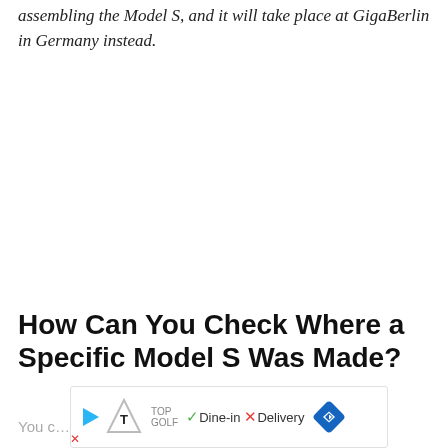assembling the Model S, and it will take place at GigaBerlin in Germany instead.
How Can You Check Where a Specific Model S Was Made?
You c... r
[Figure (other): Advertisement banner for TopGolf showing play icon, TopGolf logo, green checkmark with 'Dine-in', red X with 'Delivery', and blue navigation diamond icon.]